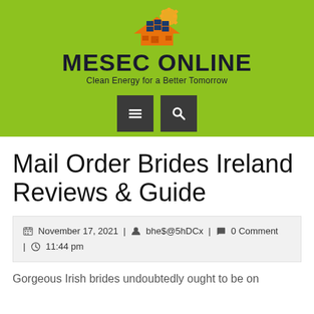[Figure (logo): MESEC ONLINE logo with solar panel and house icon on green banner background, tagline: Clean Energy for a Better Tomorrow]
Mail Order Brides Ireland Reviews & Guide
November 17, 2021 | bhe$@5hDCx | 0 Comment | 11:44 pm
Gorgeous Irish brides undoubtedly ought to be on